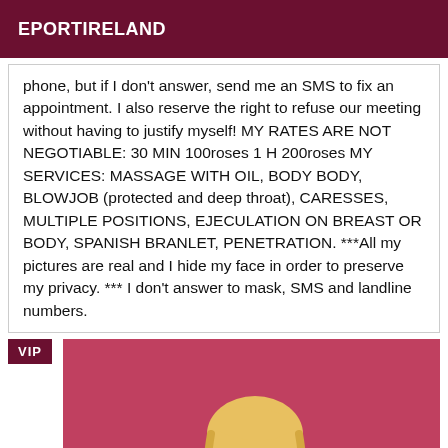EPORTIRELAND
phone, but if I don't answer, send me an SMS to fix an appointment. I also reserve the right to refuse our meeting without having to justify myself! MY RATES ARE NOT NEGOTIABLE: 30 MIN 100roses 1 H 200roses MY SERVICES: MASSAGE WITH OIL, BODY BODY, BLOWJOB (protected and deep throat), CARESSES, MULTIPLE POSITIONS, EJECULATION ON BREAST OR BODY, SPANISH BRANLET, PENETRATION. ***All my pictures are real and I hide my face in order to preserve my privacy. *** I don't answer to mask, SMS and landline numbers.
[Figure (photo): Photo of a blonde woman in a white top against a pink/red background, with a VIP badge overlay in the top left corner]